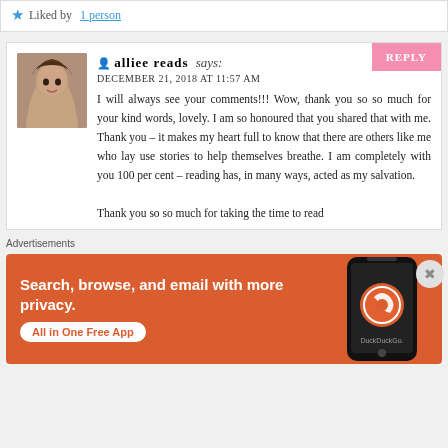Liked by 1 person
alliee reads says:
DECEMBER 21, 2018 AT 11:57 AM
I will always see your comments!!! Wow, thank you so so much for your kind words, lovely. I am so honoured that you shared that with me. Thank you – it makes my heart full to know that there are others like me who lay use stories to help themselves breathe. I am completely with you 100 per cent – reading has, in many ways, acted as my salvation.

Thank you so so much for taking the time to read
[Figure (illustration): DuckDuckGo advertisement banner: orange background with text 'Search, browse, and email with more privacy. All in One Free App' and a phone mockup with DuckDuckGo logo]